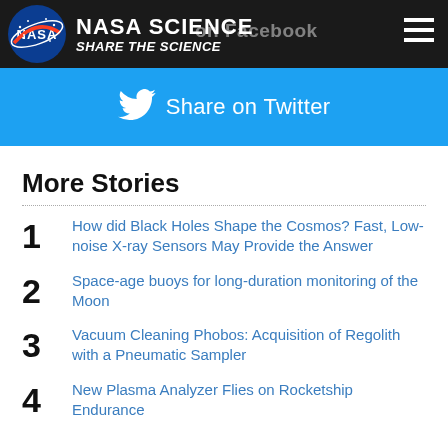NASA SCIENCE SHARE THE SCIENCE
[Figure (other): Twitter Share on Twitter button (blue background with Twitter bird icon)]
More Stories
1 How did Black Holes Shape the Cosmos? Fast, Low-noise X-ray Sensors May Provide the Answer
2 Space-age buoys for long-duration monitoring of the Moon
3 Vacuum Cleaning Phobos: Acquisition of Regolith with a Pneumatic Sampler
4 New Plasma Analyzer Flies on Rocketship Endurance